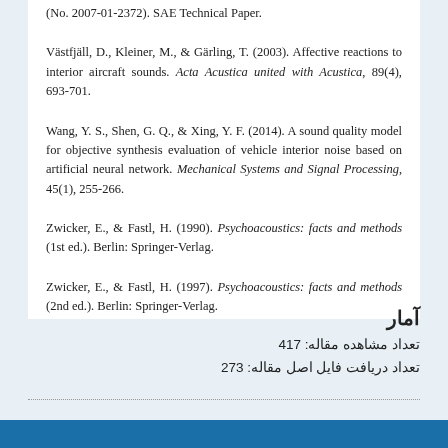(No. 2007-01-2372). SAE Technical Paper.
Västfjäll, D., Kleiner, M., & Gärling, T. (2003). Affective reactions to interior aircraft sounds. Acta Acustica united with Acustica, 89(4), 693-701.
Wang, Y. S., Shen, G. Q., & Xing, Y. F. (2014). A sound quality model for objective synthesis evaluation of vehicle interior noise based on artificial neural network. Mechanical Systems and Signal Processing, 45(1), 255-266.
Zwicker, E., & Fastl, H. (1990). Psychoacoustics: facts and methods (1st ed.). Berlin: Springer-Verlag.
Zwicker, E., & Fastl, H. (1997). Psychoacoustics: facts and methods (2nd ed.). Berlin: Springer-Verlag.
آمار
تعداد مشاهده مقاله: 417
تعداد دریافت فایل اصل مقاله: 273